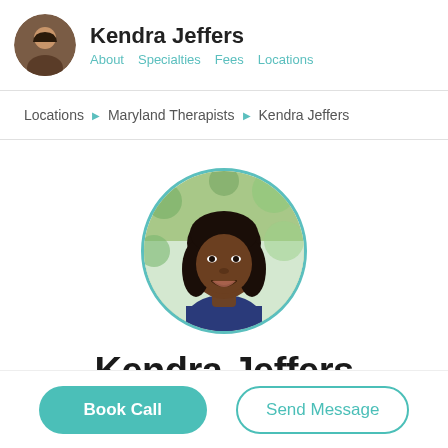Kendra Jeffers — About  Specialties  Fees  Locations
Locations ▶ Maryland Therapists ▶ Kendra Jeffers
[Figure (photo): Circular portrait photo of Kendra Jeffers, a Black woman with shoulder-length dark hair, smiling, wearing a blue top, with a blurred green outdoor background. Photo is framed by a teal circular border.]
Kendra Jeffers
Book Call
Send Message